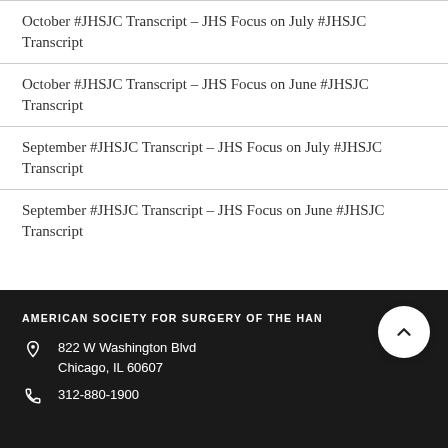October #JHSJC Transcript – JHS Focus on July #JHSJC Transcript
October #JHSJC Transcript – JHS Focus on June #JHSJC Transcript
September #JHSJC Transcript – JHS Focus on July #JHSJC Transcript
September #JHSJC Transcript – JHS Focus on June #JHSJC Transcript
AMERICAN SOCIETY FOR SURGERY OF THE HAND
822 W Washington Blvd
Chicago, IL 60607
312-880-1900